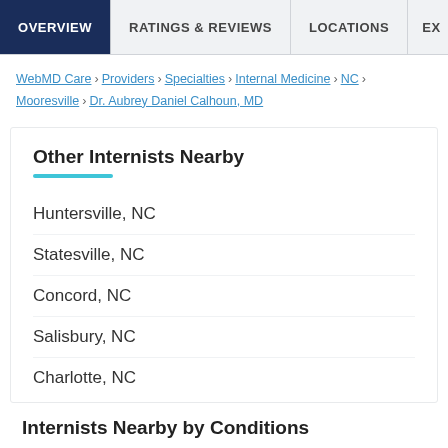OVERVIEW | RATINGS & REVIEWS | LOCATIONS | EX
WebMD Care > Providers > Specialties > Internal Medicine > NC > Mooresville > Dr. Aubrey Daniel Calhoun, MD
Other Internists Nearby
Huntersville, NC
Statesville, NC
Concord, NC
Salisbury, NC
Charlotte, NC
Internists Nearby by Conditions